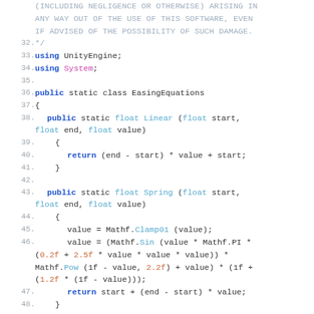Source code listing: EasingEquations.cs, lines 32–48, showing a C# Unity script with linear and spring easing function implementations.